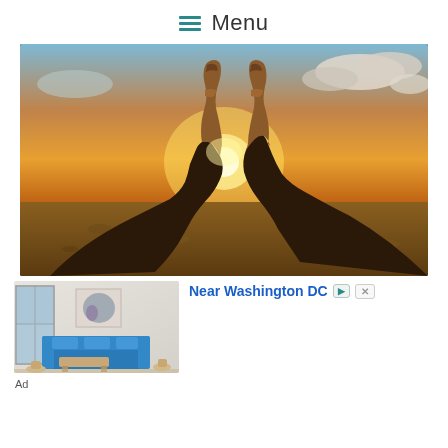Menu
[Figure (photo): Two people clinking beer bottles against a golden sunset backdrop over a field]
[Figure (photo): Advertisement image showing a modern living room interior with blue sofa, artwork on wall, and large windows]
Near Washington DC
Ad